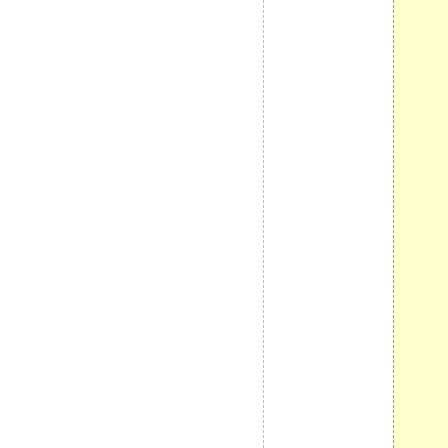, who are suddenly informed th